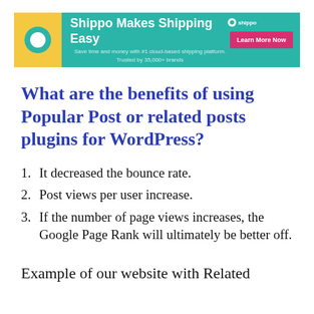[Figure (screenshot): Shippo banner advertisement: teal background with yellow box icon, text 'Shippo Makes Shipping Easy', subtext 'Save time and money with #1 cloud-based shipping platform. Trusted by 35,000+ brands', pink 'Learn More Now' button, and Shippo logo.]
What are the benefits of using Popular Post or related posts plugins for WordPress?
1. It decreased the bounce rate.
2. Post views per user increase.
3. If the number of page views increases, the Google Page Rank will ultimately be better off.
Example of our website with Related